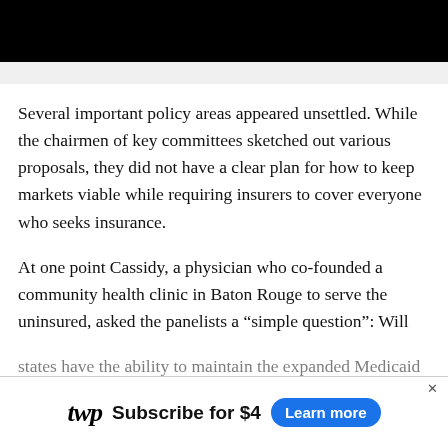Several important policy areas appeared unsettled. While the chairmen of key committees sketched out various proposals, they did not have a clear plan for how to keep markets viable while requiring insurers to cover everyone who seeks insurance.
At one point Cassidy, a physician who co-founded a community health clinic in Baton Rouge to serve the uninsured, asked the panelists a “simple question”: Will states have the ability to maintain the expanded Medicaid
[Figure (other): Washington Post subscription advertisement bar at bottom: WP logo, 'Subscribe for $4', 'Learn more' blue button, X close button]